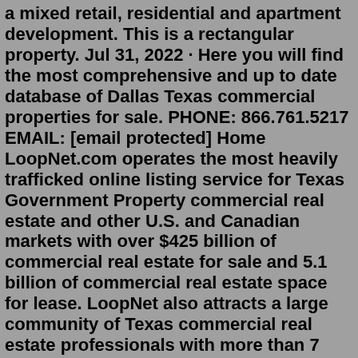a mixed retail, residential and apartment development. This is a rectangular property. Jul 31, 2022 · Here you will find the most comprehensive and up to date database of Dallas Texas commercial properties for sale. PHONE: 866.761.5217 EMAIL: [email protected] Home LoopNet.com operates the most heavily trafficked online listing service for Texas Government Property commercial real estate and other U.S. and Canadian markets with over $425 billion of commercial real estate for sale and 5.1 billion of commercial real estate space for lease. LoopNet also attracts a large community of Texas commercial real estate professionals with more than 7 million total ...Fort Worth TX For Sale by Owner. 0 . Agent listings. 55 . Other listings. Sort by: Homes for You. 11112 Loblolly Ln, Euless, TX 76040. $180,000. 4 bds; 2 ba; 2,167 sqft ... REALTORS®, and the REALTOR® logo are controlled by The Canadian Real Estate Association (CREA) and identify real estate professionals who are members of CREA. The ...242 acres • $9,299,818. FM1314 . New Caney, TX.